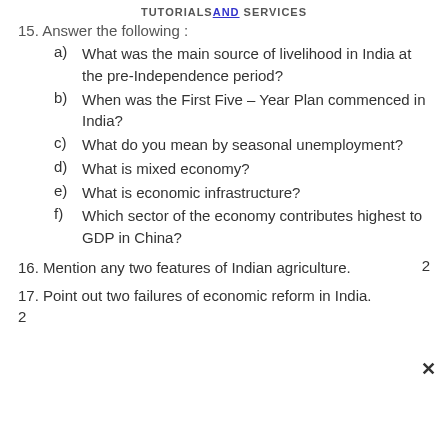TUTORIALSAND SERVICES
15. Answer the following :
a)  What was the main source of livelihood in India at the pre-Independence period?
b)  When was the First Five – Year Plan commenced in India?
c)  What do you mean by seasonal unemployment?
d)  What is mixed economy?
e)  What is economic infrastructure?
f)  Which sector of the economy contributes highest to GDP in China?
16. Mention any two features of Indian agriculture.   2
17. Point out two failures of economic reform in India.
2